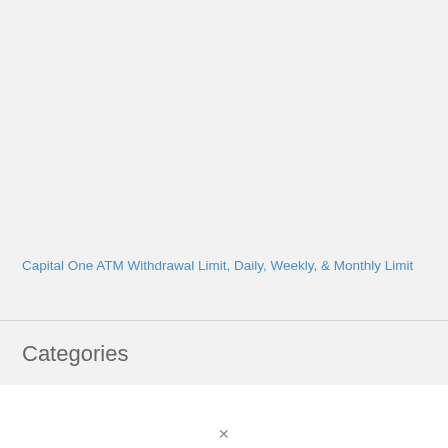Capital One ATM Withdrawal Limit, Daily, Weekly, & Monthly Limit
Categories